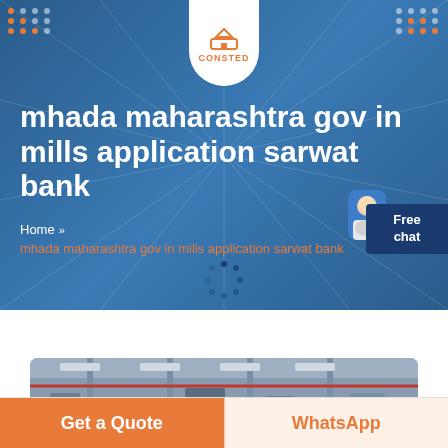[Figure (screenshot): Website screenshot showing CONSTED logo in white shield at top center, decorative dot grids top-left and top-right, blue hero banner with large white bold title text and orange breadcrumb, loading spinner, free chat badge, factory interior photo, and bottom CTA buttons]
mhada maharashtra gov in mills application sarwat bank
Home » mhada maharashtra gov in mills application sarwat bank
Get a Quote
WhatsApp